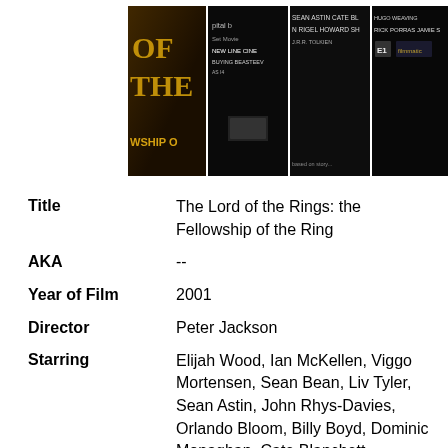[Figure (photo): Four movie cover images side by side: The Lord of the Rings Fellowship of the Ring covers in various editions, dark backgrounds with gold and white text.]
| Title | The Lord of the Rings: the Fellowship of the Ring |
| AKA | -- |
| Year of Film | 2001 |
| Director | Peter Jackson |
| Starring | Elijah Wood, Ian McKellen, Viggo Mortensen, Sean Bean, Liv Tyler, Sean Astin, John Rhys-Davies, Orlando Bloom, Billy Boyd, Dominic Monaghan, Cate Blanchett, Christopher Lee, Lawrence Makoare, Hugo Weaving, Ian |